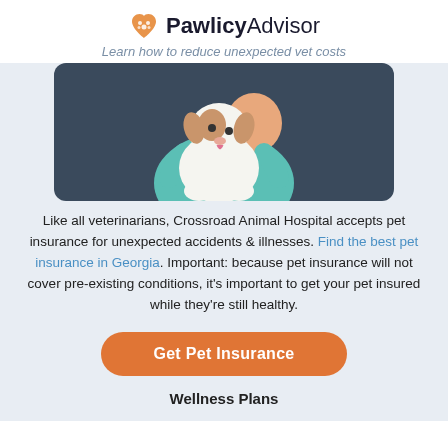PawlicyAdvisor — Learn how to reduce unexpected vet costs
[Figure (illustration): Illustration of a veterinarian in teal scrubs holding a white and brown dog, set against a dark background]
Like all veterinarians, Crossroad Animal Hospital accepts pet insurance for unexpected accidents & illnesses. Find the best pet insurance in Georgia. Important: because pet insurance will not cover pre-existing conditions, it's important to get your pet insured while they're still healthy.
Get Pet Insurance
Wellness Plans